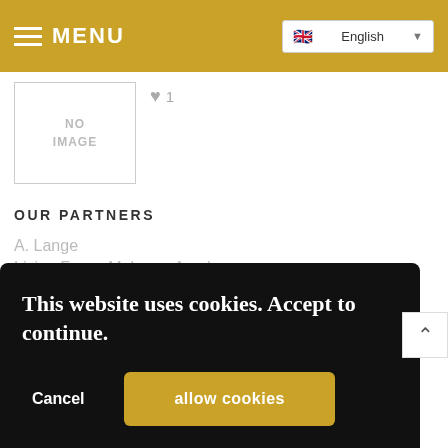MENU | English
[Figure (other): No image placeholder box with a grey heart icon and count of 1]
OUR PARTNERS
A. Lange
Living Faces Make-up Academy
adidas
Blogger's melting pot
bmw
Kraut PR Munich
This website uses cookies. Accept to continue.
Cancel
allow cookies